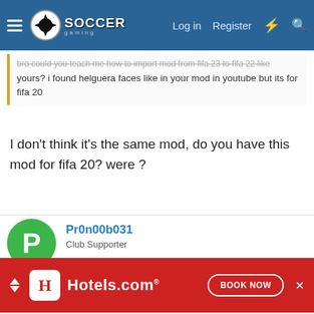Soccer Gaming — Log in | Register
bro could you teach me how to import mod from fifa 23 to fifa 22 like yours? i found helguera faces like in your mod in youtube but its for fifa 20
I don't think it's the same mod, do you have this mod for fifa 20? were ?
Pr0n00b031
Club Supporter
Apr 23, 2022  #74
Hello friend.

Im new to modding FIFA.

I want to play as the 2004 Arsenal Team. So this is great and i love the amount of work.